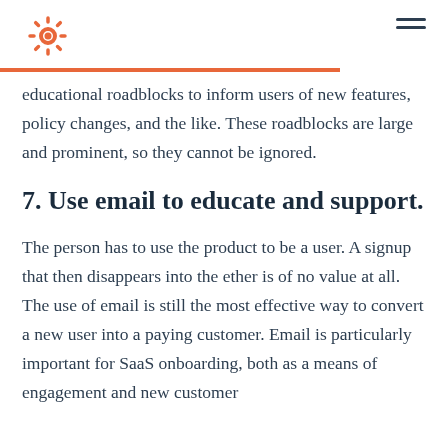HubSpot logo and navigation
educational roadblocks to inform users of new features, policy changes, and the like. These roadblocks are large and prominent, so they cannot be ignored.
7. Use email to educate and support.
The person has to use the product to be a user. A signup that then disappears into the ether is of no value at all. The use of email is still the most effective way to convert a new user into a paying customer. Email is particularly important for SaaS onboarding, both as a means of engagement and new customer